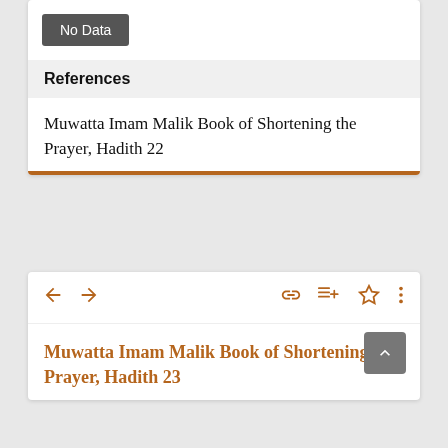No Data
References
Muwatta Imam Malik Book of Shortening the Prayer, Hadith 22
Muwatta Imam Malik Book of Shortening the Prayer, Hadith 23